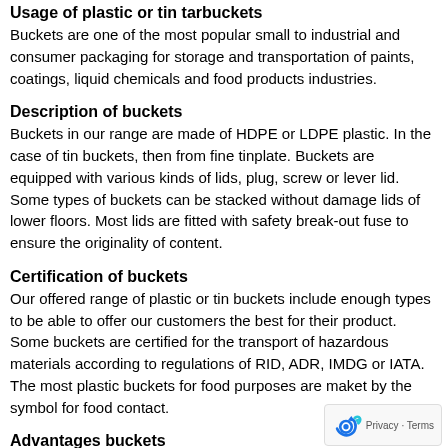Usage of plastic or tin tarbuckets
Buckets are one of the most popular small to industrial and consumer packaging for storage and transportation of paints, coatings, liquid chemicals and food products industries.
Description of buckets
Buckets in our range are made of HDPE or LDPE plastic. In the case of tin buckets, then from fine tinplate. Buckets are equipped with various kinds of lids, plug, screw or lever lid. Some types of buckets can be stacked without damage lids of lower floors. Most lids are fitted with safety break-out fuse to ensure the originality of content.
Certification of buckets
Our offered range of plastic or tin buckets include enough types to be able to offer our customers the best for their product. Some buckets are certified for the transport of hazardous materials according to regulations of RID, ADR, IMDG or IATA. The most plastic buckets for food purposes are maket by the symbol for food contact.
Advantages buckets
Buckets are suitable for transport and storage of bulk and liqu... materials.